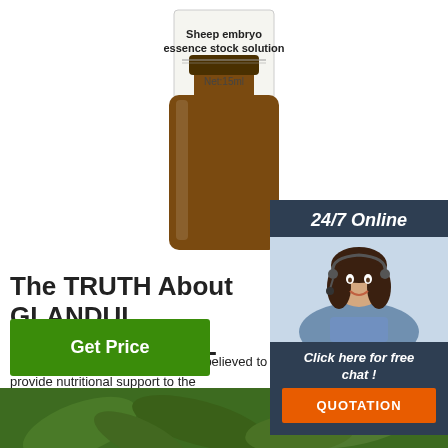[Figure (photo): Brown amber glass bottle labeled 'Sheep embryo essence stock solution Net:15ml']
[Figure (photo): 24/7 Online customer service representative wearing headset, smiling, with 'Click here for free chat!' and QUOTATION button on dark navy background]
The TRUTH About GLANDULARS In NUTRITIONAL
The consumption of glandulars is believed to provide nutritional support to the corresponding gland in the body. Glandular organs contain food vitamins and were often used in the past to supply various nutrients. Glandulars also contain nutritional peptides, enzymes, substances believed to be hormone precursors.
[Figure (logo): TOP logo with orange dots arranged in triangle above text 'TOP' in orange]
[Figure (photo): Green plants/leaves background image at bottom of page]
Get Price